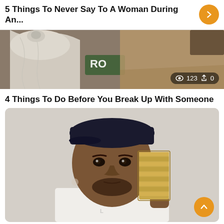5 Things To Never Say To A Woman During An...
[Figure (photo): Partially visible image showing what appears to be draped white fabric/cloth and some green text, with a stats overlay showing 123 views and 0 shares]
4 Things To Do Before You Break Up With Someone
[Figure (photo): Photo of a man wearing a dark baseball cap holding a thick stack of cash/money up to his face, wearing a white shirt, with a light background]